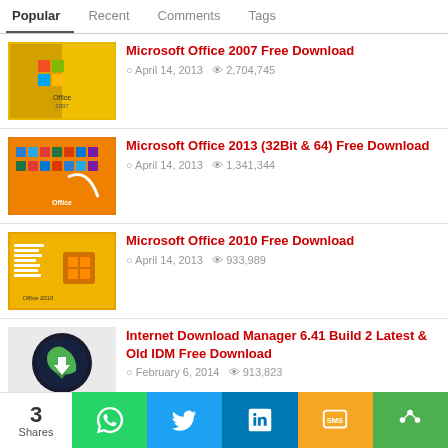Popular | Recent | Comments | Tags
Microsoft Office 2007 Free Download — April 14, 2013 · 2,704,745 views
Microsoft Office 2013 (32Bit & 64) Free Download — April 14, 2013 · 1,341,344 views
Microsoft Office 2010 Free Download — April 14, 2013 · 933,989 views
Internet Download Manager 6.41 Build 2 Latest & Old IDM Free Download — February 6, 2014 · 913,823 views
Subway Surfers PC Game Free Download — February 5, 2014 · 744,859 views
3 Shares